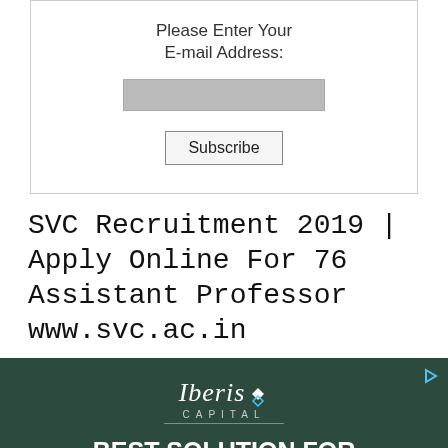Please Enter Your
E-mail Address:
[Figure (screenshot): Email input form with a gray text input box and a Subscribe button]
SVC Recruitment 2019 | Apply Online For 76 Assistant Professor www.svc.ac.in
[Figure (infographic): Iberis Capital advertisement with dark green background. Text reads: BEST SOLUTION FOR GOLDEN VISA APPLICATION. Button: SCHEDULE A MEETING]